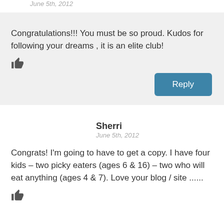June 5th, 2012
Congratulations!!! You must be so proud. Kudos for following your dreams , it is an elite club!
Reply
Sherri
June 5th, 2012
Congrats! I'm going to have to get a copy. I have four kids – two picky eaters (ages 6 & 16) – two who will eat anything (ages 4 & 7). Love your blog / site ......